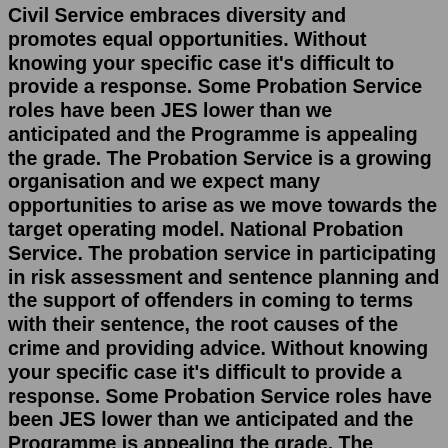Civil Service embraces diversity and promotes equal opportunities. Without knowing your specific case it's difficult to provide a response. Some Probation Service roles have been JES lower than we anticipated and the Programme is appealing the grade. The Probation Service is a growing organisation and we expect many opportunities to arise as we move towards the target operating model. National Probation Service. The probation service in participating in risk assessment and sentence planning and the support of offenders in coming to terms with their sentence, the root causes of the crime and providing advice. Without knowing your specific case it's difficult to provide a response. Some Probation Service roles have been JES lower than we anticipated and the Programme is appealing the grade. The Probation Service is a growing organisation and we expect many opportunities to arise as we move towards the target operating model. Overview. Probation means you're serving your sentence but you're not in prison. You could be put on